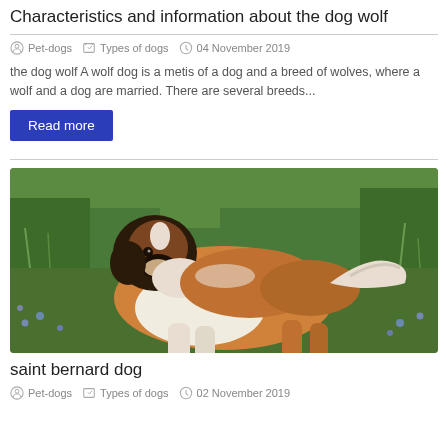Characteristics and information about the dog wolf
Pet-dogs   Types of dogs   04 November 2019
the dog wolf A wolf dog is a metis of a dog and a breed of wolves, where a wolf and a dog are married. There are several breeds...
Read more
[Figure (photo): A Saint Bernard dog standing in a green field with blue flowers]
saint bernard dog
Pet-dogs   Types of dogs   02 November 2019